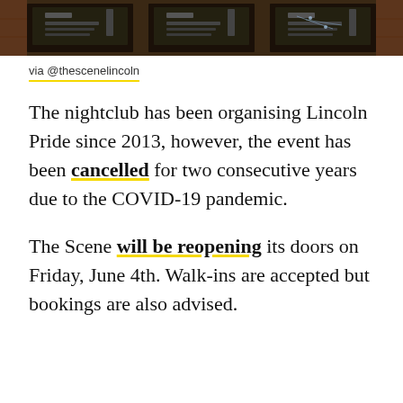[Figure (photo): A strip photo showing what appears to be illuminated display panels or signage boards in a dark venue with brick walls.]
via @thescenelincoln
The nightclub has been organising Lincoln Pride since 2013, however, the event has been cancelled for two consecutive years due to the COVID-19 pandemic.
The Scene will be reopening its doors on Friday, June 4th. Walk-ins are accepted but bookings are also advised.